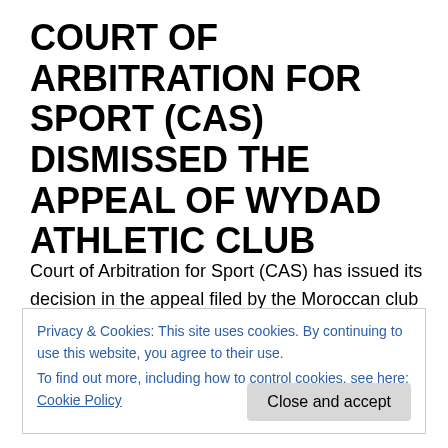COURT OF ARBITRATION FOR SPORT (CAS) DISMISSED THE APPEAL OF WYDAD ATHLETIC CLUB
Court of Arbitration for Sport (CAS) has issued its decision in the appeal filed by the Moroccan club Wydad Athletic Club (WAC) against the Confédération Africaine de Football (CAF) and the Tunisian club Espérance Sportive
Privacy & Cookies: This site uses cookies. By continuing to use this website, you agree to their use.
To find out more, including how to control cookies, see here: Cookie Policy